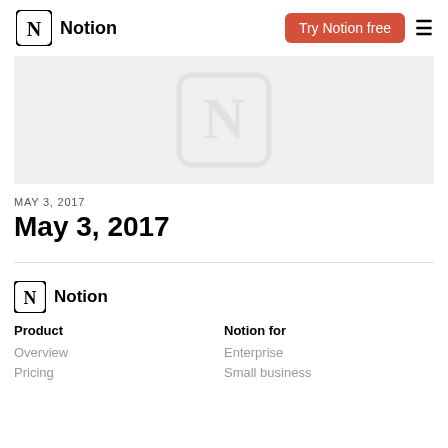Notion | Try Notion free
[Figure (logo): Notion logo watermark on light gray background]
MAY 3, 2017
May 3, 2017
[Figure (logo): Notion footer logo - book icon with N]
Product
Overview
Pricing
Notion for
Enterprise
Small business